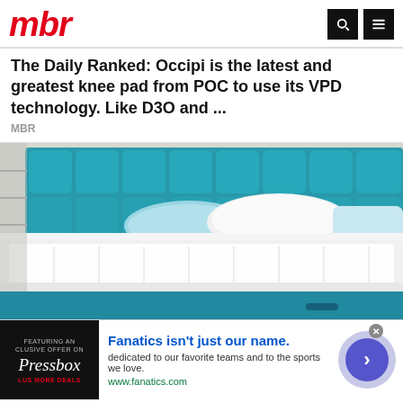mbr
The Daily Ranked: Occipi is the latest and greatest knee pad from POC to use its VPD technology. Like D3O and ...
MBR
[Figure (photo): Photo of a white tufted mattress on a teal upholstered bed frame with matching headboard, with pillows visible against the headboard. Room setting with shelving visible in background.]
[Figure (infographic): Advertisement banner: Pressbox ad on left with dark background, Fanatics ad in center with headline 'Fanatics isn't just our name.' and subtext 'dedicated to our favorite teams and to the sports we love.' with url www.fanatics.com, and a purple circle arrow button on right.]